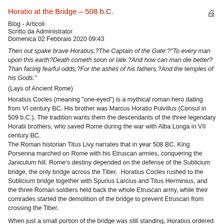Horatio at the Bridge – 508 b.C.
Blog - Articoli
Scritto da Administrator
Domenica 02 Febbraio 2020 09:43
Then out spake brave Horatius,?The Captain of the Gate:?"To every man upon this earth?Death cometh soon or late.?And how can man die better?Than facing fearful odds,?For the ashes of his fathers,?And the temples of his Gods." (Lays of Ancient Rome)
Horatius Cocles (meaning “one-eyed”) is a mythical roman hero dating from VI century BC. His brother was Marcus Horatio Pulvillus (Consul in 509 b.C.). The tradition wants them the descendants of the three legendary Horatii brothers, who saved Rome during the war with Alba Longa in VII century BC. The Roman historian Titus Livy narrates that in year 508 BC, King Porsenna marched on Rome with his Etruscan armies, conquering the Janiculum hill. Rome’s destiny depended on the defense of the Sublicium bridge, the only bridge across the Tiber.  Horatius Cocles rushed to the Sublicium bridge together with Spurius Larcius and Titus Herminius, and the three Roman soldiers held back the whole Etruscan army, while their comrades started the demolition of the bridge to prevent Etruscan from crossing the Tiber.
When just a small portion of the bridge was still standing, Horatius ordered his two companions to get safe and carried on the fight alone. When the last portion of the bridge finally fell, Horatio invoked Father Tiber,  leaped